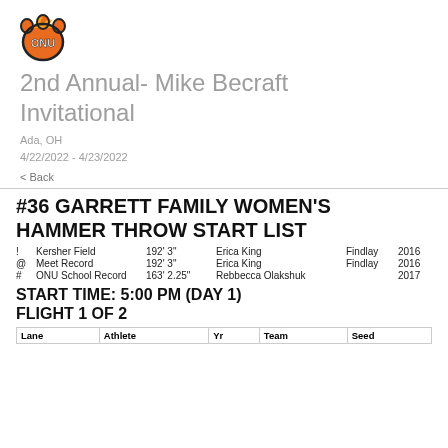[Figure (logo): ONU (Ohio Northern University) athletics logo - orange bear paw with ONU letters]
2nd Annual- Mike Becraft Invitational
Ada, OH
4/22/2022 - 4/23/2022
< Back
#36 GARRETT FAMILY WOMEN'S HAMMER THROW START LIST
!  Kersher Field  192' 3"  Erica King  Findlay  2016
@  Meet Record  192' 3"  Erica King  Findlay  2016
#  ONU School Record  163' 2.25"  Rebbecca Olakshuk  2017
START TIME: 5:00 PM (DAY 1)
FLIGHT 1 OF 2
| Lane | Athlete | Yr | Team | Seed |
| --- | --- | --- | --- | --- |